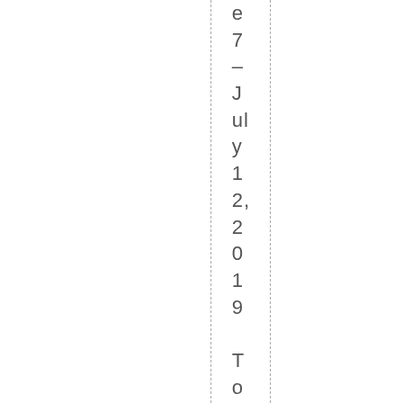e7 – July 12, 2019 Tom Glassman, Mu